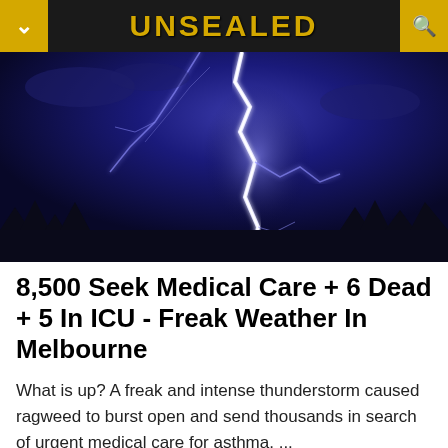UNSEALED
[Figure (photo): Lightning strike against a dark blue night sky with silhouetted trees at the bottom. A bright white-blue lightning bolt strikes prominently in the center of the frame with branching bolts visible.]
8,500 Seek Medical Care + 6 Dead + 5 In ICU - Freak Weather In Melbourne
What is up? A freak and intense thunderstorm caused ragweed to burst open and send thousands in search of urgent medical care for asthma. ...